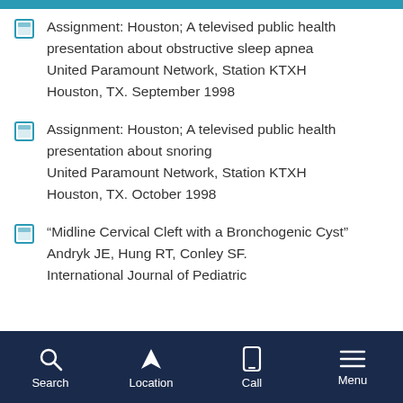Assignment: Houston; A televised public health presentation about obstructive sleep apnea United Paramount Network, Station KTXH Houston, TX. September 1998
Assignment: Houston; A televised public health presentation about snoring United Paramount Network, Station KTXH Houston, TX. October 1998
“Midline Cervical Cleft with a Bronchogenic Cyst” Andryk JE, Hung RT, Conley SF. International Journal of Pediatric
Search  Location  Call  Menu